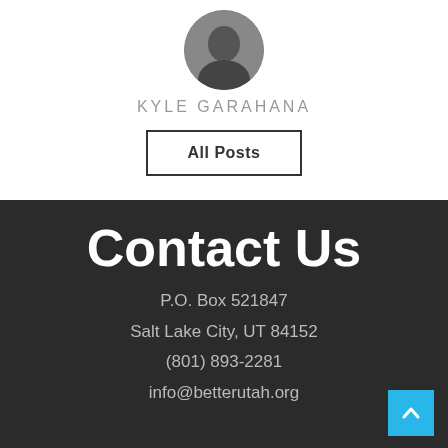[Figure (photo): Circular cropped profile photo of Kyle Garahana, partially visible at top of page]
KYLE GARAHANA
All Posts
Contact Us
P.O. Box 521847
Salt Lake City, UT 84152
(801) 893-2281
info@betterutah.org
For press inquires, contact press@betterutah.org